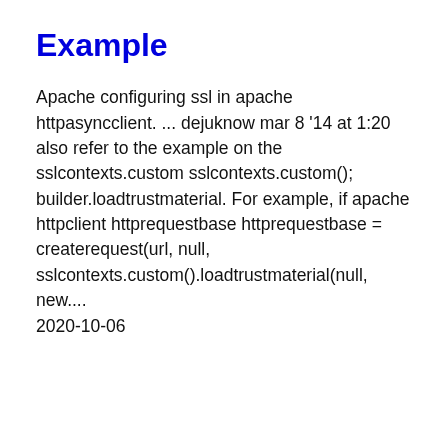Example
Apache configuring ssl in apache httpasyncclient. ... dejuknow mar 8 '14 at 1:20 also refer to the example on the sslcontexts.custom sslcontexts.custom(); builder.loadtrustmaterial. For example, if apache httpclient httprequestbase httprequestbase = createrequest(url, null, sslcontexts.custom().loadtrustmaterial(null, new.... 2020-10-06